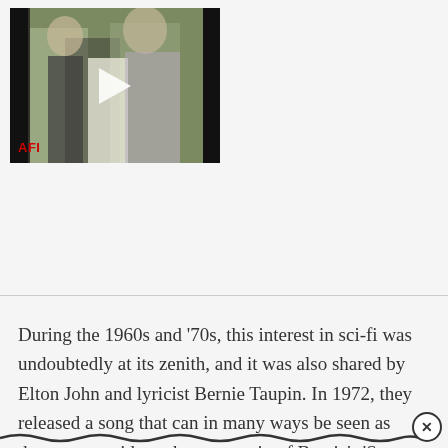[Figure (screenshot): Video thumbnail showing a vintage film scene with two men, one in a white suit, with a play button overlay. AFI logo in bottom-left corner and Ad badge visible.]
During the 1960s and ‘70s, this interest in sci-fi was undoubtedly at its zenith, and it was also shared by Elton John and lyricist Bernie Taupin. In 1972, they released a song that can in many ways be seen as the separate side to the same coin of Bowie’s ‘Space